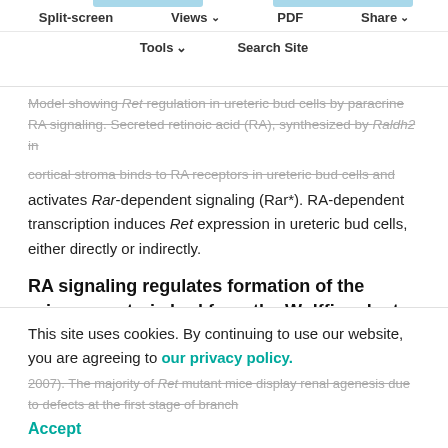Split-screen | Views | PDF | Share | Tools | Search Site
Model showing Ret regulation in ureteric bud cells by paracrine RA signaling. Secreted retinoic acid (RA), synthesized by Raldh2 in cortical stroma binds to RA receptors in ureteric bud cells and activates Rar-dependent signaling (Rar*). RA-dependent transcription induces Ret expression in ureteric bud cells, either directly or indirectly.
RA signaling regulates formation of the primary ureteric bud from the Wolffian duct and its branching morphogenesis within the developing kidney via Ret
Ret is a gene that, when mutated in humans, can cause renal defects, Hirschsprung's disease and cancer (Dressler...
This site uses cookies. By continuing to use our website, you are agreeing to our privacy policy.
Accept